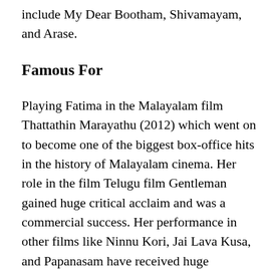include My Dear Bootham, Shivamayam, and Arase.
Famous For
Playing Fatima in the Malayalam film Thattathin Marayathu (2012) which went on to become one of the biggest box-office hits in the history of Malayalam cinema. Her role in the film Telugu film Gentleman gained huge critical acclaim and was a commercial success. Her performance in other films like Ninnu Kori, Jai Lava Kusa, and Papanasam have received huge appreciation and response.